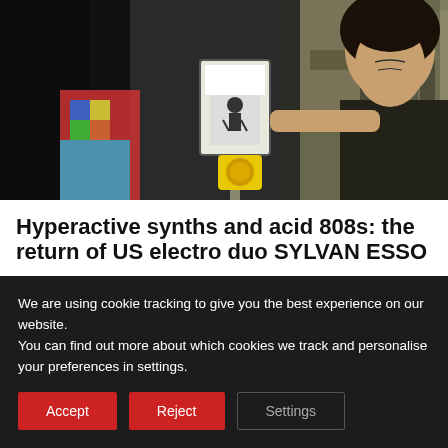[Figure (photo): Street scene photograph showing a woman with dark hair and a black top leaning against a traffic signal pole with a yellow push button, people visible in the background on a busy street]
Hyperactive synths and acid 808s: the return of US electro duo SYLVAN ESSO
No Rules Sandy, the fourth long-player from US electronic nova-pop duo Sylvan Esso, is well worth staying out for, like a night out with Robyn and Pegi Blair.
We are using cookie tracking to give you the best experience on our website.
You can find out more about which cookies we track and personalise your preferences in settings.